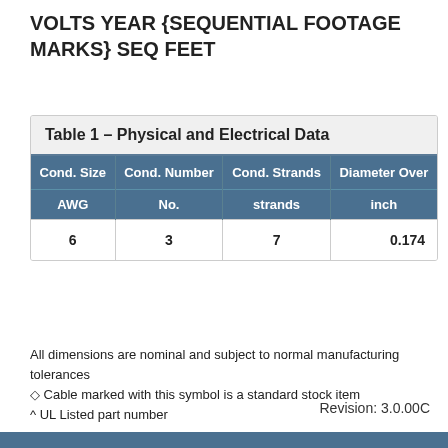VOLTS YEAR {SEQUENTIAL FOOTAGE MARKS} SEQ FEET
| Cond. Size
AWG | Cond. Number
No. | Cond. Strands
strands | Diameter Over
inch |
| --- | --- | --- | --- |
| 6 | 3 | 7 | 0.174 |
All dimensions are nominal and subject to normal manufacturing tolerances
◇ Cable marked with this symbol is a standard stock item
^ UL Listed part number
Revision: 3.0.00C